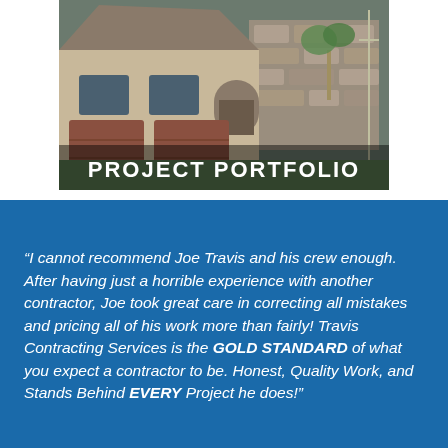[Figure (photo): Photo of a residential house with stone facade and two-car garage, overlaid with the text PROJECT PORTFOLIO in white letters at the bottom]
“I cannot recommend Joe Travis and his crew enough. After having just a horrible experience with another contractor, Joe took great care in correcting all mistakes and pricing all of his work more than fairly! Travis Contracting Services is the GOLD STANDARD of what you expect a contractor to be. Honest, Quality Work, and Stands Behind EVERY Project he does!”